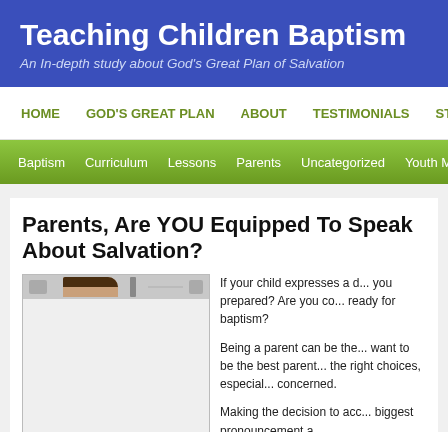Teaching Children Baptism
An In-depth study about God's Great Plan of Salvation
HOME | GOD'S GREAT PLAN | ABOUT | TESTIMONIALS | ST...
Baptism | Curriculum | Lessons | Parents | Uncategorized | Youth Minis...
Parents, Are YOU Equipped To Speak About Salvation?
[Figure (photo): A person's face/head visible at top of a mostly blank image placeholder]
If your child expresses a d... you prepared? Are you co... ready for baptism?
Being a parent can be the... want to be the best parent... the right choices, especial... concerned.
Making the decision to acc... biggest pronouncement a...